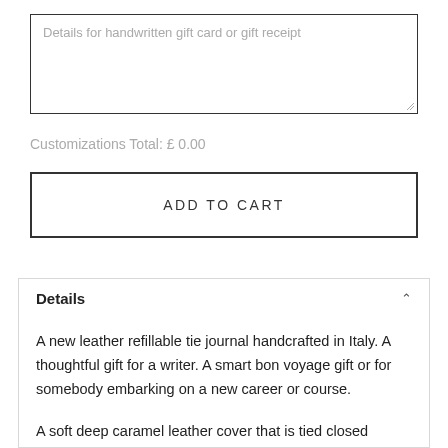Details for handwritten gift card or gift receipt
Customizations Total: £ 0.00
ADD TO CART
Details
A new leather refillable tie journal handcrafted in Italy. A thoughtful gift for a writer. A smart bon voyage gift or for somebody embarking on a new career or course.
A soft deep caramel leather cover that is tied closed